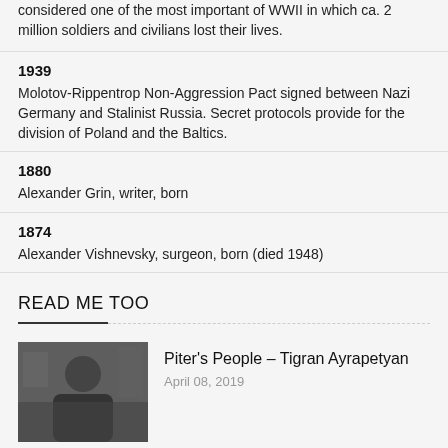considered one of the most important of WWII in which ca. 2 million soldiers and civilians lost their lives.
1939
Molotov-Rippentrop Non-Aggression Pact signed between Nazi Germany and Stalinist Russia. Secret protocols provide for the division of Poland and the Baltics.
1880
Alexander Grin, writer, born
1874
Alexander Vishnevsky, surgeon, born (died 1948)
READ ME TOO
[Figure (photo): Photo of a person sitting, man in black clothing, appears to be indoors]
Piter's People – Tigran Ayrapetyan
April 08, 2019